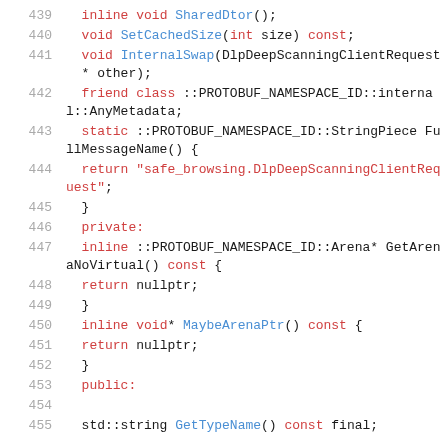[Figure (screenshot): Source code listing (C++ protobuf generated code) showing lines 439-455 with syntax highlighting. Line numbers in gray on the left, keywords and identifiers in red/blue on the right.]